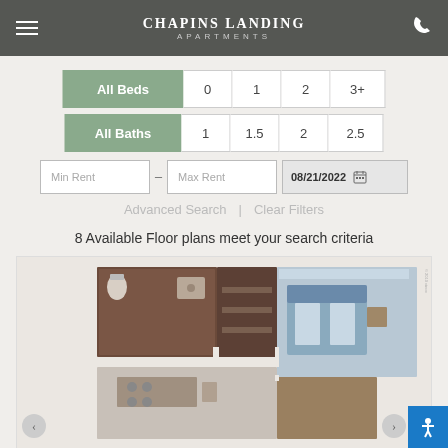Chapins Landing Apartments
All Beds  0  1  2  3+
All Baths  1  1.5  2  2.5
Min Rent – Max Rent  08/21/2022
Advanced Search | Clear Filters
8 Available Floor plans meet your search criteria
[Figure (illustration): Apartment floor plan showing multiple rooms including bedroom, bathroom, and living areas in a top-down architectural view]